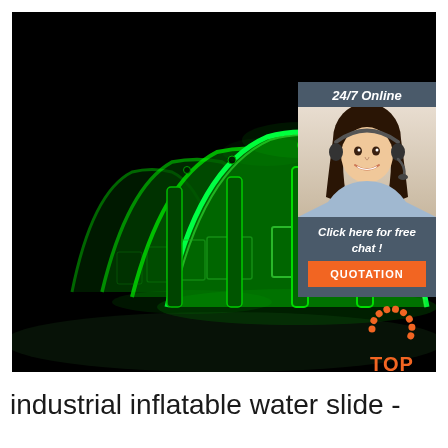[Figure (photo): Large photograph of a series of green LED-lit inflatable tunnel/tent structures arranged in a row against a dark/black background at night. The structures glow bright green with arch shapes and rectangular window panels visible on the sides.]
[Figure (infographic): Chat widget overlay box with dark blue-grey background. Top text: '24/7 Online' in italic white. Center: photo of a smiling woman with headset/microphone on (customer service representative). Bottom text: 'Click here for free chat !' in italic white. Orange button labeled 'QUOTATION' in white bold capital letters.]
[Figure (logo): TOP logo in orange: a semicircle of dots above the word TOP in orange bold letters.]
industrial inflatable water slide -